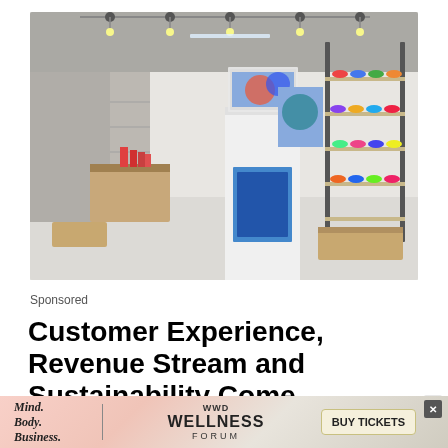[Figure (photo): Interior of a modern sneaker/retail store with white walls, wooden display counter in center, shelves of colorful sneakers on right wall, track lighting on ceiling, and stairs visible in background left. A white IMBOX unit stands in center.]
Sponsored
Customer Experience, Revenue Stream and Sustainability Come Wrapped in an IMBOX
[Figure (infographic): Advertisement banner for WWD Wellness Forum showing 'Mind. Body. Business.' text on left with pink/beige gradient background, WWD logo and 'WELLNESS FORUM' text in center, and 'BUY TICKETS' button on right with X close button.]